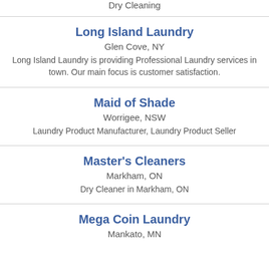Dry Cleaning
Long Island Laundry
Glen Cove, NY
Long Island Laundry is providing Professional Laundry services in town. Our main focus is customer satisfaction.
Maid of Shade
Worrigee, NSW
Laundry Product Manufacturer, Laundry Product Seller
Master's Cleaners
Markham, ON
Dry Cleaner in Markham, ON
Mega Coin Laundry
Mankato, MN